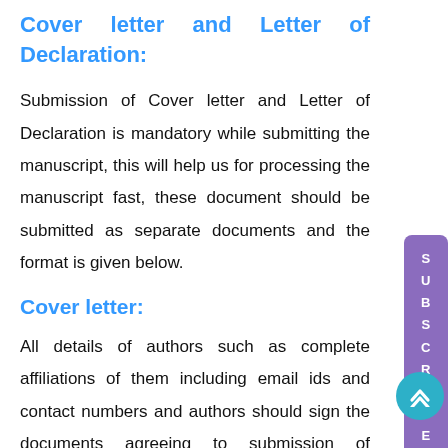Cover letter and Letter of Declaration:
Submission of Cover letter and Letter of Declaration is mandatory while submitting the manuscript, this will help us for processing the manuscript fast, these document should be submitted as separate documents and the format is given below.
Cover letter:
All details of authors such as complete affiliations of them including email ids and contact numbers and authors should sign the documents agreeing to submission of manuscript to our journal. If received funding from any agency